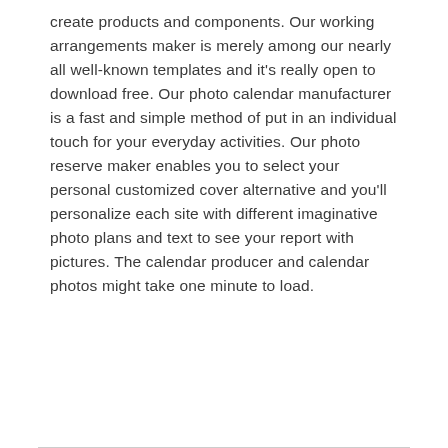create products and components. Our working arrangements maker is merely among our nearly all well-known templates and it's really open to download free. Our photo calendar manufacturer is a fast and simple method of put in an individual touch for your everyday activities. Our photo reserve maker enables you to select your personal customized cover alternative and you'll personalize each site with different imaginative photo plans and text to see your report with pictures. The calendar producer and calendar photos might take one minute to load.